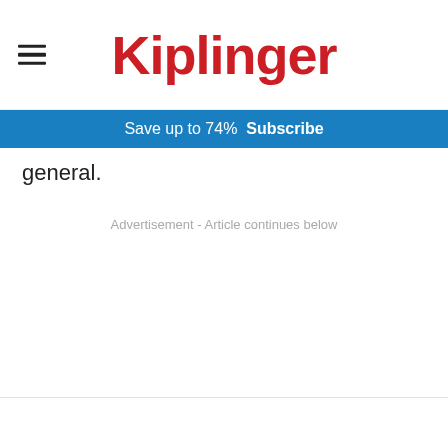Kiplinger
Save up to 74%  Subscribe
general.
Advertisement - Article continues below